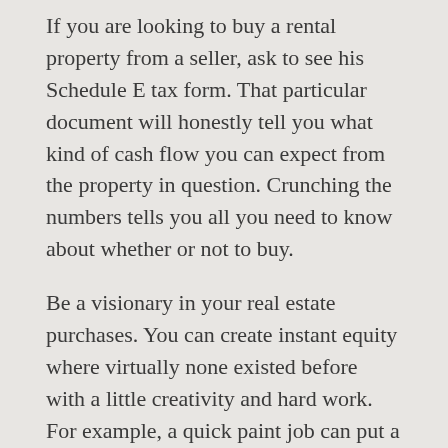If you are looking to buy a rental property from a seller, ask to see his Schedule E tax form. That particular document will honestly tell you what kind of cash flow you can expect from the property in question. Crunching the numbers tells you all you need to know about whether or not to buy.
Be a visionary in your real estate purchases. You can create instant equity where virtually none existed before with a little creativity and hard work. For example, a quick paint job can put a property in prime condition for selling, as can landscaping. A quick fixer-upper can mean a quick and profitable sale!
Buy properties that are in close proximity to where you live. You know the neighborhood already, which prevents leaps of faith from losing you money. Since you live close to the property, you can feel more